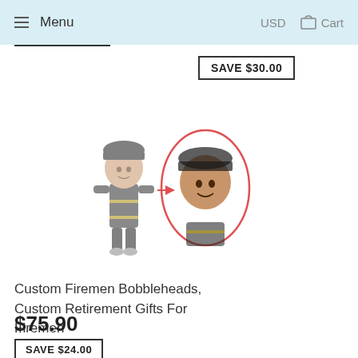Menu   USD   Cart
SAVE $30.00
[Figure (illustration): Two custom firemen bobblehead figurines side by side. The left figurine shows the full body in dark firefighter uniform. The right figurine is circled in red/pink oval, showing closer detail of the face customization.]
Custom Firemen Bobbleheads, Custom Retirement Gifts For Firemen
$75.90
SAVE $24.00